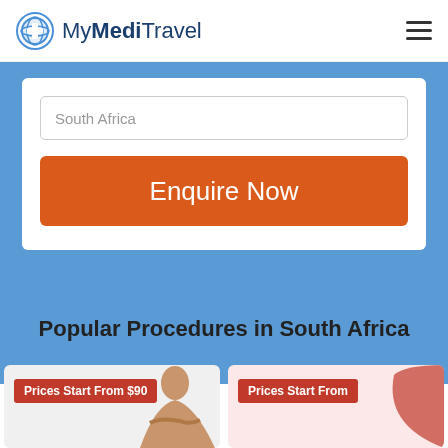MyMediTravel
South Africa
Enquire Now
Popular Procedures in South Africa
Prices Start From $90
Prices Start From